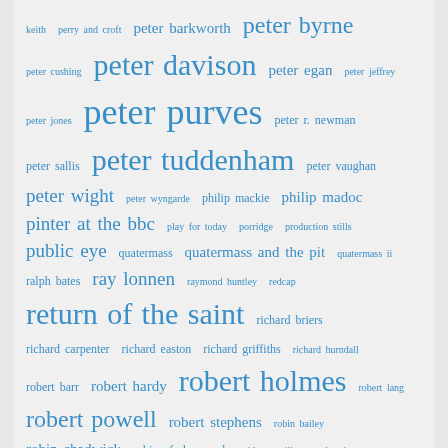[Figure (other): Tag cloud of British TV-related names and show titles in various font sizes, all in blue on a light grey background. Terms include: keith, perry and croft, peter barkworth, peter byrne, peter cushing, peter davison, peter egan, peter jeffrey, peter jones, peter purves, peter r. newman, peter sallis, peter tuddenham, peter vaughan, peter wight, peter wyngarde, philip mackie, philip madoc, pinter at the bbc, play for today, porridge, production stills, public eye, quatermass, quatermass and the pit, quatermass ii, ralph bates, ray lonnen, raymond huntley, redcap, return of the saint, richard briers, richard carpenter, richard easton, richard griffiths, richard hurndall, robert barr, robert hardy, robert holmes, robert lang, robert powell, robert stephens, robin bailey, robin chadwick, robin of sherwood, roddy mcmillan, rod steiger, roger delgado, roger marshall, roger moore, roger parkes, ronald radd, ronnie barker, ronnie corbett, roy clarke, roy marsden, rudolph cartier, rupert davies, russell hunter, sally knyvette, sam kelly, sapphire & steel, sarah-jane varley, sarah sutton, sean pertwee, secret army, sergeant cork, seven of one, sez les, sherlock holmes, sian webber, sid james, simon cadell, simon oates, simply media, six dates with barker, snakedance]